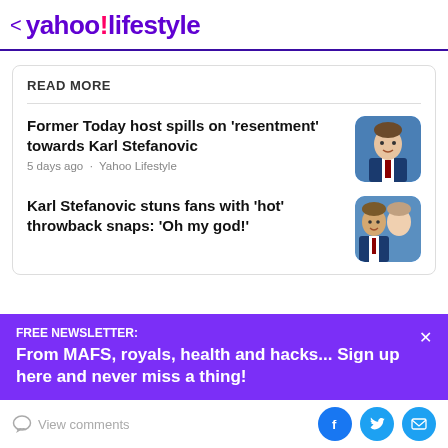< yahoo!lifestyle
READ MORE
Former Today host spills on 'resentment' towards Karl Stefanovic
5 days ago · Yahoo Lifestyle
Karl Stefanovic stuns fans with 'hot' throwback snaps: 'Oh my god!'
FREE NEWSLETTER:
From MAFS, royals, health and hacks... Sign up here and never miss a thing!
View comments